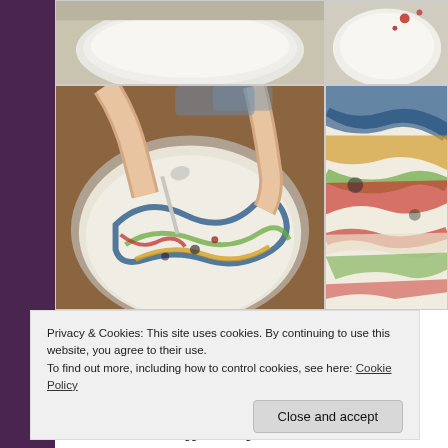[Figure (photo): Four-panel photo collage showing eggs being marbled in shaving cream with food coloring. Top-left: white frosted surface in bowl. Top-right: white surface with red dots. Bottom-left: child's hands using spoon to swirl colorful food dye in white shaving cream in metal bowl. Bottom-right: close-up of colorful swirled shaving cream with red, green, blue, yellow swirls.]
Privacy & Cookies: This site uses cookies. By continuing to use this website, you agree to their use.
To find out more, including how to control cookies, see here: Cookie Policy
Close and accept
1. Place hard boiled eggs in a large bowl and cover wit